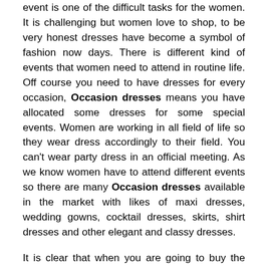event is one of the difficult tasks for the women. It is challenging but women love to shop, to be very honest dresses have become a symbol of fashion now days. There is different kind of events that women need to attend in routine life. Off course you need to have dresses for every occasion, Occasion dresses means you have allocated some dresses for some special events. Women are working in all field of life so they wear dress accordingly to their field. You can't wear party dress in an official meeting. As we know women have to attend different events so there are many Occasion dresses available in the market with likes of maxi dresses, wedding gowns, cocktail dresses, skirts, shirt dresses and other elegant and classy dresses.
It is clear that when you are going to buy the dress for a certain event make sure that the Occasion dresses you are going to buy must suit your image and